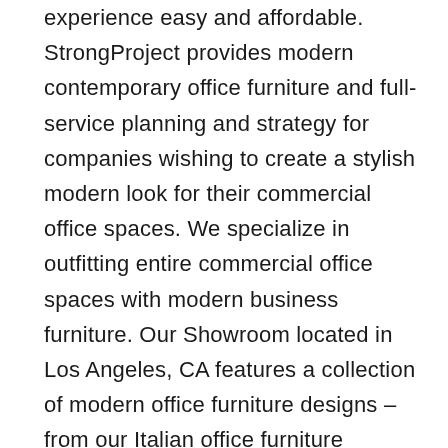experience easy and affordable. StrongProject provides modern contemporary office furniture and full-service planning and strategy for companies wishing to create a stylish modern look for their commercial office spaces. We specialize in outfitting entire commercial office spaces with modern business furniture. Our Showroom located in Los Angeles, CA features a collection of modern office furniture designs – from our Italian office furniture collection to our unique, modern workstations. Let your creativity go wild while you shop for choicest furniture and home decor items on Hometown. On hometown furniture section, you can look for numerous designs and styles of wardrobes, cabinets, kitchen furniture, dining table furniture, beds, sofa, end tables, accent chairs etc. To further decorate the house, you can look for home furnishings like bed covers and beddings, pillow and sofa covers, mats, curtains and carpets. Moreover, to complete